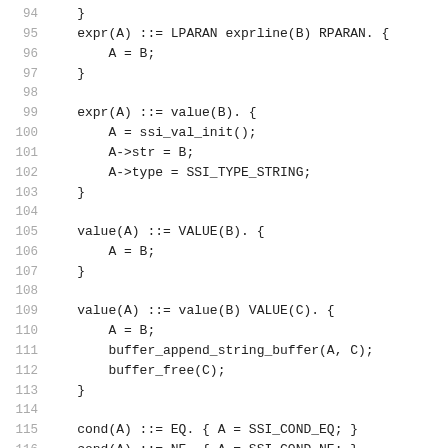94    }
95    expr(A) ::= LPARAN exprline(B) RPARAN. {
96        A = B;
97    }
98
99    expr(A) ::= value(B). {
100       A = ssi_val_init();
101       A->str = B;
102       A->type = SSI_TYPE_STRING;
103   }
104
105   value(A) ::= VALUE(B). {
106       A = B;
107   }
108
109   value(A) ::= value(B) VALUE(C). {
110       A = B;
111       buffer_append_string_buffer(A, C);
112       buffer_free(C);
113   }
114
115   cond(A) ::= EQ. { A = SSI_COND_EQ; }
116   cond(A) ::= NE. { A = SSI_COND_NE; }